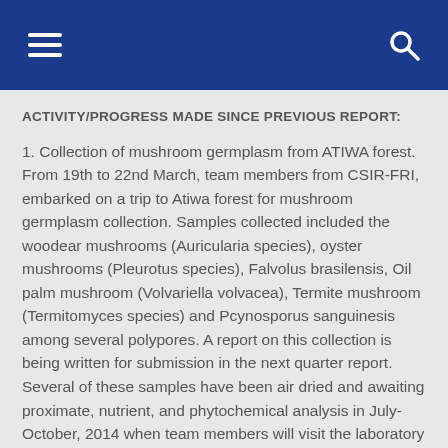≡  🔍
ACTIVITY/PROGRESS MADE SINCE PREVIOUS REPORT:
1. Collection of mushroom germplasm from ATIWA forest. From 19th to 22nd March, team members from CSIR-FRI, embarked on a trip to Atiwa forest for mushroom germplasm collection. Samples collected included the woodear mushrooms (Auricularia species), oyster mushrooms (Pleurotus species), Falvolus brasilensis, Oil palm mushroom (Volvariella volvacea), Termite mushroom (Termitomyces species) and Pcynosporus sanguinesis among several polypores. A report on this collection is being written for submission in the next quarter report. Several of these samples have been air dried and awaiting proximate, nutrient, and phytochemical analysis in July-October, 2014 when team members will visit the laboratory of The Ohio State University